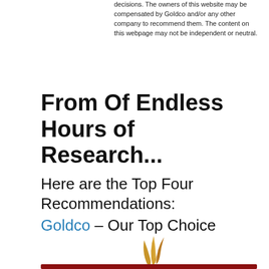decisions. The owners of this website may be compensated by Goldco and/or any other company to recommend them. The content on this webpage may not be independent or neutral.
From Of Endless Hours of Research...
Here are the Top Four Recommendations:
Goldco – Our Top Choice
[Figure (logo): Goldco logo with golden feather/flame graphic above bold GOLDCO text with registered trademark symbol]